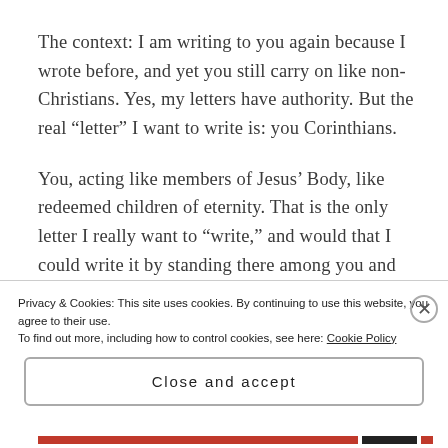The context: I am writing to you again because I wrote before, and yet you still carry on like non-Christians. Yes, my letters have authority. But the real “letter” I want to write is: you Corinthians.
You, acting like members of Jesus’ Body, like redeemed children of eternity. That is the only letter I really want to “write,” and would that I could write it by standing there among you and teaching you in person!
Privacy & Cookies: This site uses cookies. By continuing to use this website, you agree to their use.
To find out more, including how to control cookies, see here: Cookie Policy
Close and accept